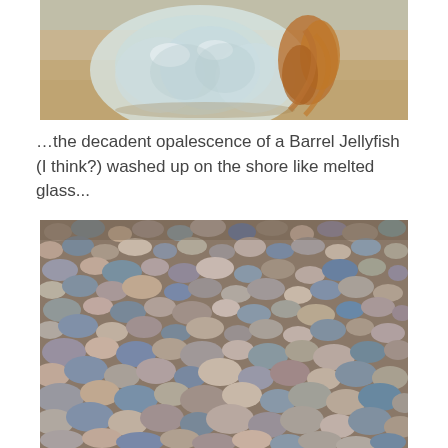[Figure (photo): Close-up photo of a translucent barrel jellyfish washed up on sandy beach, showing its gelatinous opalescent body with orange-brown tentacles and frilly edges on golden sand.]
…the decadent opalescence of a Barrel Jellyfish (I think?) washed up on the shore like melted glass...
[Figure (photo): Close-up photo of a pebble beach showing many small to medium sized rounded stones in various colors — grey, brown, pink, beige, and blue-grey — covering the entire frame.]